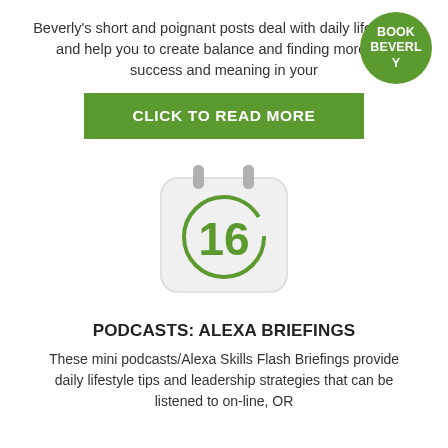Beverly's short and poignant posts deal with daily life stress and help you to create balance and finding more joy, success and meaning in your life.
[Figure (illustration): Green rounded rectangle button with white bold uppercase text: CLICK TO READ MORE]
[Figure (illustration): Green circular badge with white bold text: BOOK BEVERLY]
[Figure (illustration): Calendar icon with rounded corners, light gray background, two silver rings at top, and green number 16 inside a green circle]
PODCASTS: ALEXA BRIEFINGS
These mini podcasts/Alexa Skills Flash Briefings provide daily lifestyle tips and leadership strategies that can be listened to on-line, OR